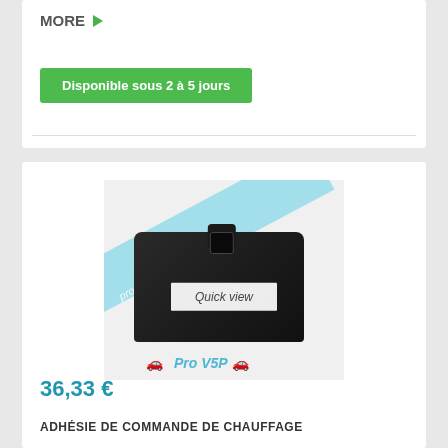MORE ▶
Disponible sous 2 à 5 jours
[Figure (photo): Black rectangular automotive heating control module/device with a small button on top. Has a 'Quick view' label overlay and a diagonal light blue watermark ribbon. Pro V5P logo at bottom.]
36,33 €
ADHÉSIE DE COMMANDE DE CHAUFFAGE